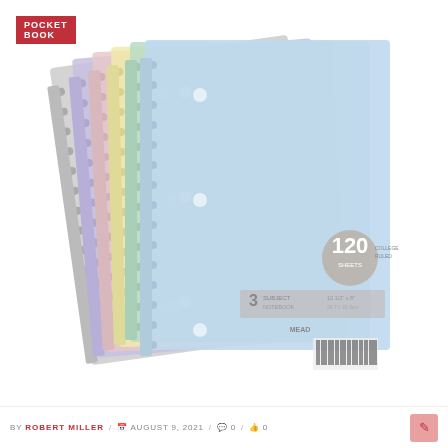POCKET BOOK
[Figure (photo): Stack of pastel-colored spiral-bound notebooks fanned out, showing covers in gray, lavender, pink, yellow, green, and blue. The front notebook shows '120 sheets', '3 subject', size '10 1/2 x 8', and a barcode. Brand: Mead.]
BY ROBERT MILLER / 📅 AUGUST 9, 2021 / 💬 0 / 👍 0